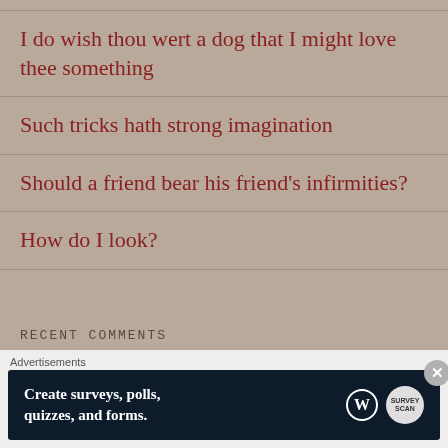I do wish thou wert a dog that I might love thee something
Such tricks hath strong imagination
Should a friend bear his friend’s infirmities?
How do I look?
RECENT COMMENTS
[Figure (screenshot): Advertisement banner: 'Create surveys, polls, quizzes, and forms.' with WordPress and Survey logos on dark background]
Advertisements